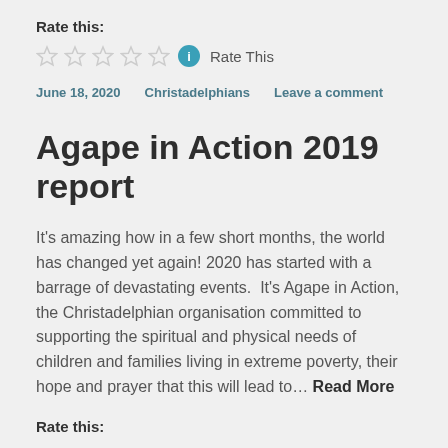Rate this:
☆ ☆ ☆ ☆ ☆ ℹ Rate This
June 18, 2020   Christadelphians   Leave a comment
Agape in Action 2019 report
It's amazing how in a few short months, the world has changed yet again! 2020 has started with a barrage of devastating events.  It's Agape in Action, the Christadelphian organisation committed to supporting the spiritual and physical needs of children and families living in extreme poverty, their hope and prayer that this will lead to… Read More
Rate this: